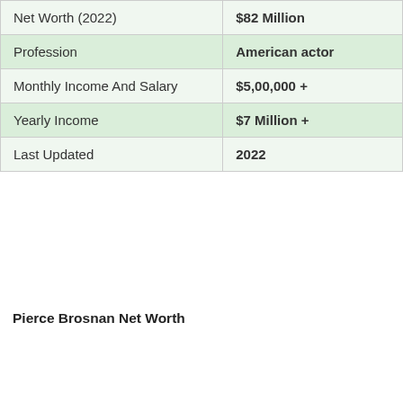|  |  |
| --- | --- |
| Net Worth (2022) | $82 Million |
| Profession | American actor |
| Monthly Income And Salary | $5,00,000 + |
| Yearly Income | $7 Million + |
| Last Updated | 2022 |
Pierce Brosnan Net Worth